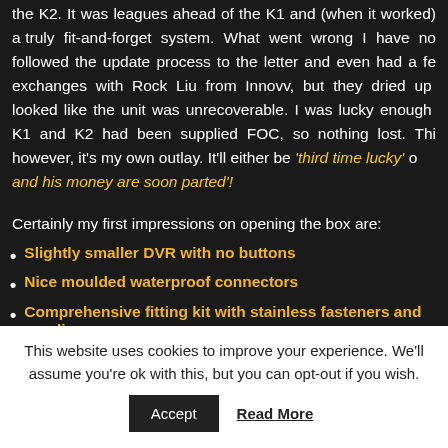the K2. It was leagues ahead of the K1 and (when it worked) a truly fit-and-forget system. What went wrong I have no idea. I followed the update process to the letter and even had a few exchanges with Rock Liu from Innovv, but they dried up when it looked like the unit was unrecoverable. I was lucky enough that both K1 and K2 had been supplied FOC, so nothing lost. This one however, it's my own outlay. It'll either be 'third time lucky' or 'a fool and his money are soon parted'!
Certainly my first impressions on opening the box are:
Slightly smaller DVR with no buttons
Nice moulded waterproof connectors
Comprehensive fitting kit with stainless fasteners and anodise...
This website uses cookies to improve your experience. We'll assume you're ok with this, but you can opt-out if you wish.